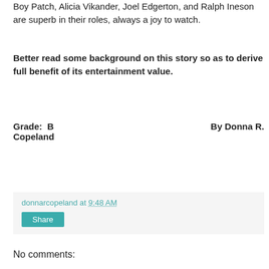Boy Patch, Alicia Vikander, Joel Edgerton, and Ralph Ineson are superb in their roles, always a joy to watch.
Better read some background on this story so as to derive full benefit of its entertainment value.
Grade:  B    By Donna R. Copeland
donnarcopeland at 9:48 AM
Share
No comments:
Post a Comment